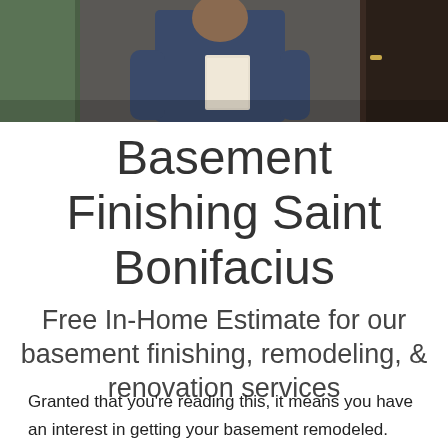[Figure (photo): Photo of a person in a dark blue shirt holding papers, standing in a doorway with construction materials visible in background]
Basement Finishing Saint Bonifacius
Free In-Home Estimate for our basement finishing, remodeling, & renovation services
Granted that you're reading this, it means you have an interest in getting your basement remodeled.